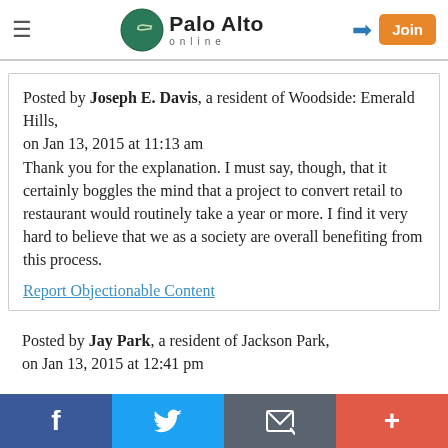Palo Alto online
Posted by Joseph E. Davis, a resident of Woodside: Emerald Hills,
on Jan 13, 2015 at 11:13 am
Thank you for the explanation. I must say, though, that it certainly boggles the mind that a project to convert retail to restaurant would routinely take a year or more. I find it very hard to believe that we as a society are overall benefiting from this process.
Report Objectionable Content
Posted by Jay Park, a resident of Jackson Park,
on Jan 13, 2015 at 12:41 pm
f  Twitter  Email  +